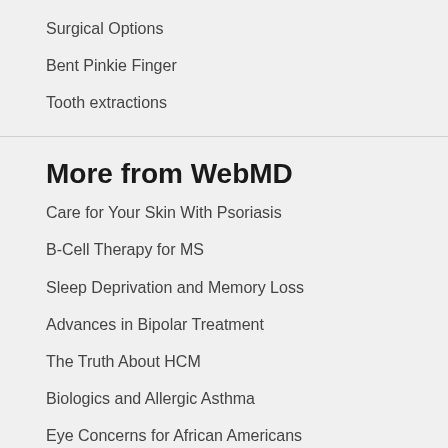Surgical Options
Bent Pinkie Finger
Tooth extractions
More from WebMD
Care for Your Skin With Psoriasis
B-Cell Therapy for MS
Sleep Deprivation and Memory Loss
Advances in Bipolar Treatment
The Truth About HCM
Biologics and Allergic Asthma
Eye Concerns for African Americans
ADVERTISEMENT
[Figure (other): CarMax advertisement banner: Buy Your Used Car Your Way]